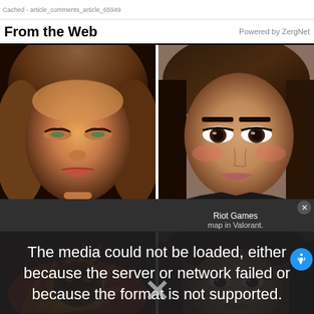Cached - article_comments_article_65949
From the Web    Powered by ZergNet
[Figure (photo): Top-left: 3D animated/rendered female face with brown hair, partially closed eyes, warm skin tones]
[Figure (photo): Top-right: Real photograph of a young woman with dark hair, heavy eye makeup, looking sideways with a skeptical expression]
The media could not be loaded, either because the server or network failed or because the format is not supported.
Riot Games
map in Valorant.
[Figure (photo): Bottom-left: Fiery creature or character with flames in red, orange, yellow tones]
[Figure (photo): Bottom-right: Dark haired woman, partially visible]